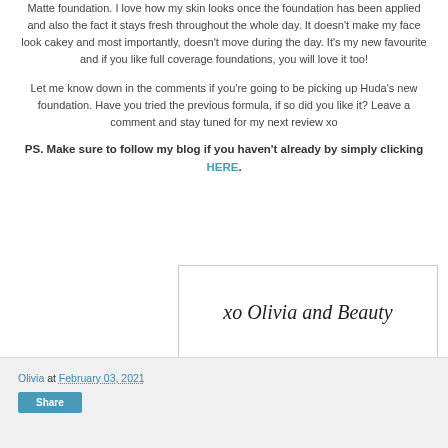Matte foundation. I love how my skin looks once the foundation has been applied and also the fact it stays fresh throughout the whole day. It doesn't make my face look cakey and most importantly, doesn't move during the day. It's my new favourite and if you like full coverage foundations, you will love it too!
Let me know down in the comments if you're going to be picking up Huda's new foundation. Have you tried the previous formula, if so did you like it? Leave a comment and stay tuned for my next review xo
PS. Make sure to follow my blog if you haven't already by simply clicking HERE.
[Figure (illustration): Signature box with cursive text reading 'xo Olivia and Beauty']
Olivia at February 03, 2021 Share